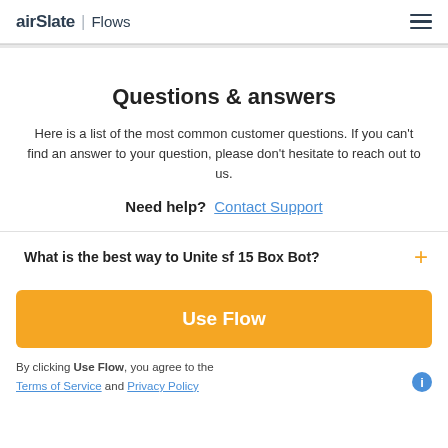airSlate | Flows
Questions & answers
Here is a list of the most common customer questions. If you can't find an answer to your question, please don't hesitate to reach out to us.
Need help? Contact Support
What is the best way to Unite sf 15 Box Bot?
Use Flow
By clicking Use Flow, you agree to the Terms of Service and Privacy Policy